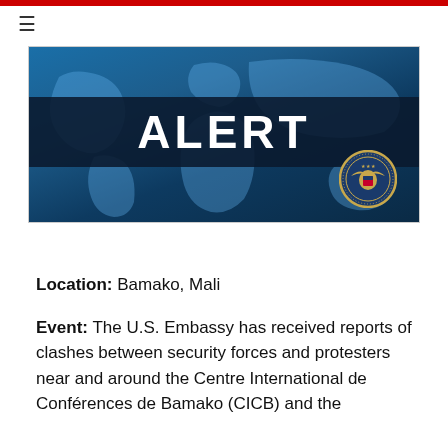[Figure (illustration): U.S. Embassy ALERT banner image with world map background, dark stripe with white bold text reading ALERT, and U.S. Department of State seal in bottom right corner]
Location: Bamako, Mali
Event: The U.S. Embassy has received reports of clashes between security forces and protesters near and around the Centre International de Conférences de Bamako (CICB) and the